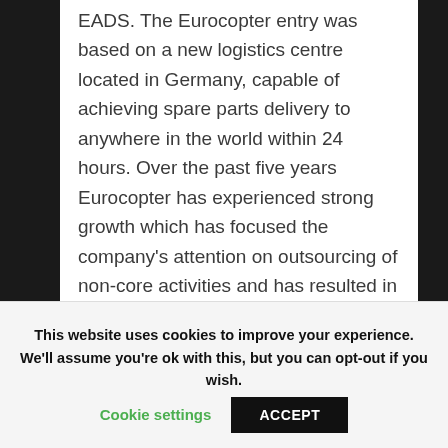EADS. The Eurocopter entry was based on a new logistics centre located in Germany, capable of achieving spare parts delivery to anywhere in the world within 24 hours. Over the past five years Eurocopter has experienced strong growth which has focused the company's attention on outsourcing of non-core activities and has resulted in deep collaboration with its logistics service provider, Fiege. Low production volumes and very high costs per part mean inventory levels tend to be high. With these significant constraints and high service level requirements the Eurocopter entry was considered good, but then this is a tough
This website uses cookies to improve your experience. We'll assume you're ok with this, but you can opt-out if you wish.
Cookie settings   ACCEPT